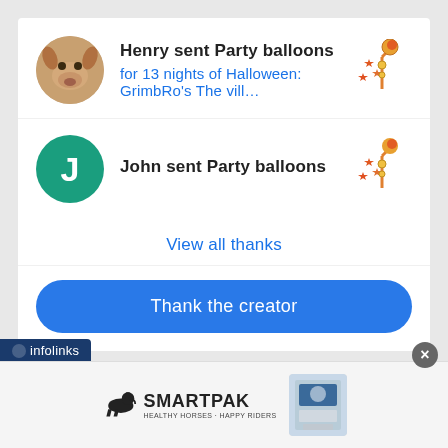Henry sent Party balloons
for 13 nights of Halloween: GrimbRo's The vill…
John sent Party balloons
View all thanks
Thank the creator
infolinks
Thank with Google
[Figure (logo): SmartPak horse logo with text SMARTPAK and tagline, alongside a product image]
×